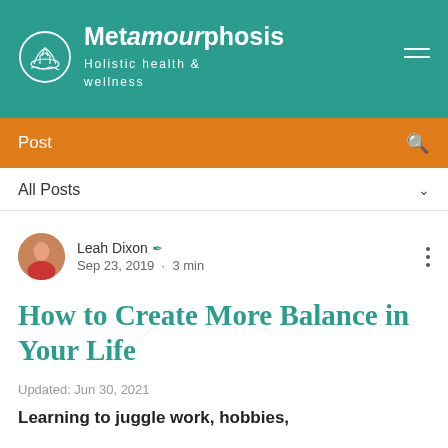Metamourphosis – Holistic health & wellness
Post
All Posts
Leah Dixon ✍ Sep 23, 2019 · 3 min
How to Create More Balance in Your Life
Updated: Jun 30, 2021
Learning to juggle work, hobbies,